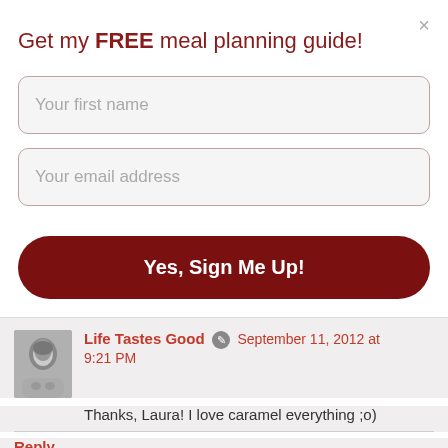Get my FREE meal planning guide!
Your first name
Your email address
Yes, Sign Me Up!
Life Tastes Good  September 11, 2012 at 9:21 PM
Thanks, Laura! I love caramel everything ;o)
Reply
Valerie's Kitchen  September 12, 2012 at 9:42 PM
Mmmmm...saw this on RecipeNewz and Jacs...stonn...